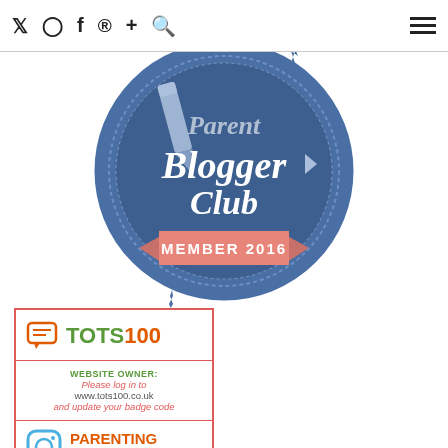Twitter Instagram Facebook Pinterest + Search | Menu
[Figure (logo): Parent Blogger Club Member 2016 badge - circular blue badge with serrated edge, pencil icon, text 'Parent Blogger Club' and a salmon/pink ribbon banner reading 'MEMBER 2016']
[Figure (logo): TOTS100 website owner widget - green and orange TOTS100 logo with chat bubble icon, text reading 'WEBSITE OWNER: Please log in to www.tots100.co.uk and update your badge code']
[Figure (logo): Parenting Influencer badge with Instagram-style icon and bold orange/red text 'PARENTING INFLUENCER']